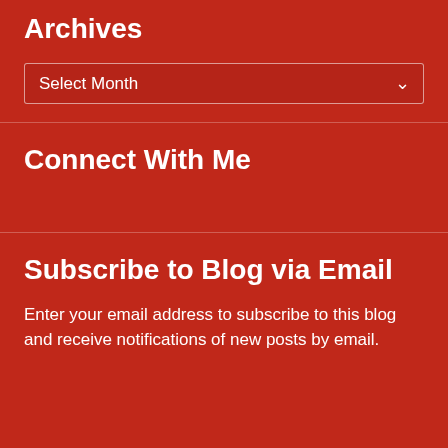Archives
Select Month
Connect With Me
Subscribe to Blog via Email
Enter your email address to subscribe to this blog and receive notifications of new posts by email.